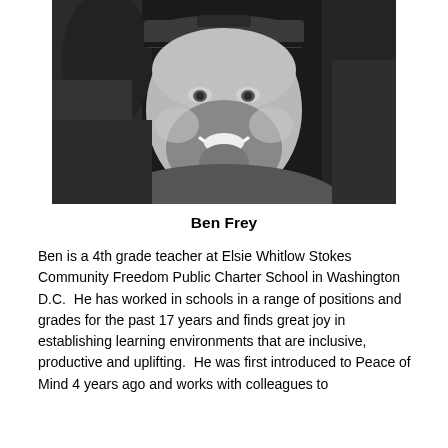[Figure (photo): Black and white selfie photo of Ben Frey, a man wearing a backwards baseball cap and a sweatshirt, smiling at the camera with a beard and necklace. Background shows plants and shelving.]
Ben Frey
Ben is a 4th grade teacher at Elsie Whitlow Stokes Community Freedom Public Charter School in Washington D.C.  He has worked in schools in a range of positions and grades for the past 17 years and finds great joy in establishing learning environments that are inclusive, productive and uplifting.  He was first introduced to Peace of Mind 4 years ago and works with colleagues to